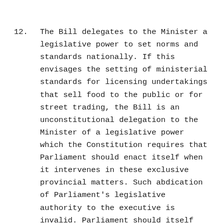12.  The Bill delegates to the Minister a legislative power to set norms and standards nationally. If this envisages the setting of ministerial standards for licensing undertakings that sell food to the public or for street trading, the Bill is an unconstitutional delegation to the Minister of a legislative power which the Constitution requires that Parliament should enact itself when it intervenes in these exclusive provincial matters. Such abdication of Parliament's legislative authority to the executive is invalid. Parliament should itself lay down any essential policy or standard if exercising a legislative power to intervene.[9]